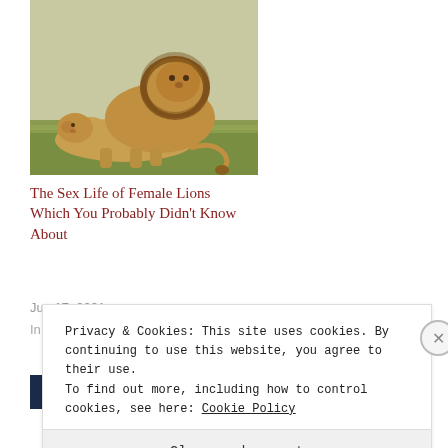[Figure (photo): Two lions (a male with mane and a female) interacting/mating on grass]
The Sex Life of Female Lions Which You Probably Didn't Know About
Jun 17, 2021
In "Home"
EDUCATION  HOME
Privacy & Cookies: This site uses cookies. By continuing to use this website, you agree to their use.
To find out more, including how to control cookies, see here: Cookie Policy
Close and accept